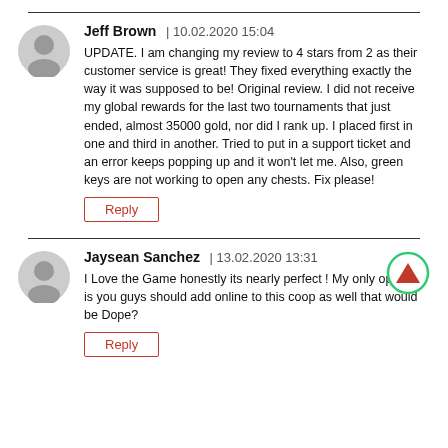Jeff Brown | 10.02.2020 15:04
UPDATE. I am changing my review to 4 stars from 2 as their customer service is great! They fixed everything exactly the way it was supposed to be! Original review. I did not receive my global rewards for the last two tournaments that just ended, almost 35000 gold, nor did I rank up. I placed first in one and third in another. Tried to put in a support ticket and an error keeps popping up and it won't let me. Also, green keys are not working to open any chests. Fix please!
Reply
Jaysean Sanchez | 13.02.2020 13:31
I Love the Game honestly its nearly perfect ! My only opinion is you guys should add online to this coop as well that would be Dope?
Reply